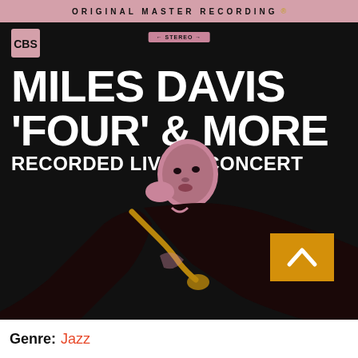[Figure (illustration): Album cover for Miles Davis 'Four' & More – Recorded Live in Concert. Mobile Fidelity Original Master Recording reissue. Black background with pink/mauve toned illustration of Miles Davis playing trumpet. Top pink banner reads ORIGINAL MASTER RECORDING. CBS logo top left. Stereo badge top center. White bold text: MILES DAVIS / 'FOUR' & MORE / RECORDED LIVE IN CONCERT.]
Genre: Jazz